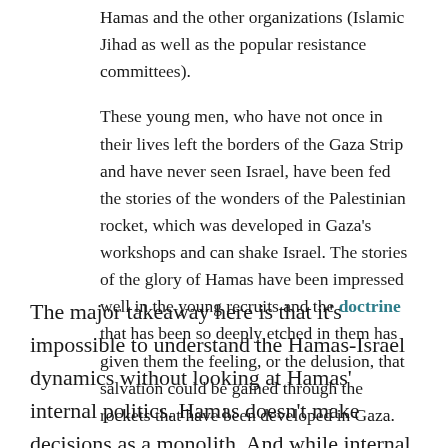Hamas and the other organizations (Islamic Jihad as well as the popular resistance committees).
These young men, who have not once in their lives left the borders of the Gaza Strip and have never seen Israel, have been fed the stories of the wonders of the Palestinian rocket, which was developed in Gaza's workshops and can shake Israel. The stories of the glory of Hamas have been impressed well in the young recruits and the doctrine that has been so deeply etched in them has given them the feeling, or the delusion, that salvation could be gained through the rockets that have been developed in Gaza.
The major takeaway here is that it's impossible to understand the Hamas-Israel dynamics without looking at Hamas' internal politics. Hamas doesn't make decisions as a monolith. And while internal Hamas politics are more subtle than a stark military-political binary, there's an essential fault line there —